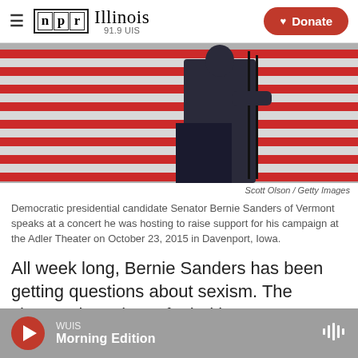NPR Illinois 91.9 UIS | Donate
[Figure (photo): Person in dark suit speaking at a podium in front of an American flag backdrop, viewed from behind/side. Microphone stands visible.]
Scott Olson / Getty Images
Democratic presidential candidate Senator Bernie Sanders of Vermont speaks at a concert he was hosting to raise support for his campaign at the Adler Theater on October 23, 2015 in Davenport, Iowa.
All week long, Bernie Sanders has been getting questions about sexism. The charges have been fueled by comments his campaign manager made, saying Sanders would consider Clinton for vice president
WUIS Morning Edition